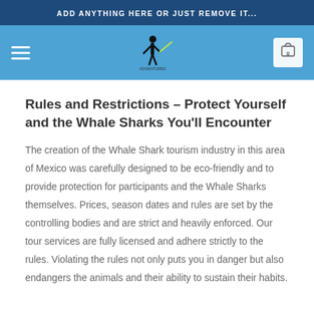ADD ANYTHING HERE OR JUST REMOVE IT...
[Figure (logo): Website navigation bar with hamburger menu icon on left, a logo icon of a person with a weapon in the center on a blue background, and a shopping cart icon showing 0 on the right]
Rules and Restrictions – Protect Yourself and the Whale Sharks You'll Encounter
The creation of the Whale Shark tourism industry in this area of Mexico was carefully designed to be eco-friendly and to provide protection for participants and the Whale Sharks themselves. Prices, season dates and rules are set by the controlling bodies and are strict and heavily enforced. Our tour services are fully licensed and adhere strictly to the rules. Violating the rules not only puts you in danger but also endangers the animals and their ability to sustain their habits.